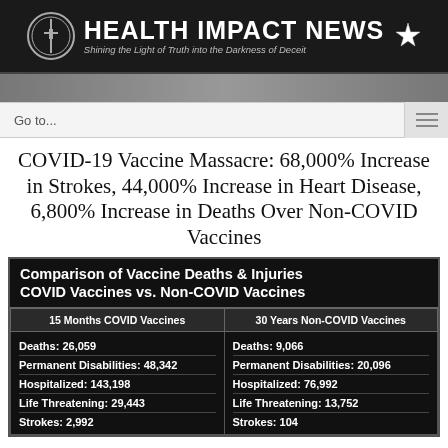HEALTH IMPACT NEWS — Shining the Light of Truth into the Darkness of Deceit
COVID-19 Vaccine Massacre: 68,000% Increase in Strokes, 44,000% Increase in Heart Disease, 6,800% Increase in Deaths Over Non-COVID Vaccines
| 15 Months COVID Vaccines | 30 Years Non-COVID Vaccines |
| --- | --- |
| Deaths: 26,059 | Deaths: 9,066 |
| Permanent Disabilities: 48,342 | Permanent Disabilities: 20,096 |
| Hospitalized: 143,198 | Hospitalized: 76,992 |
| Life Threatening: 29,443 | Life Threatening: 13,752 |
| Strokes: 2,992 | Strokes: 104 |